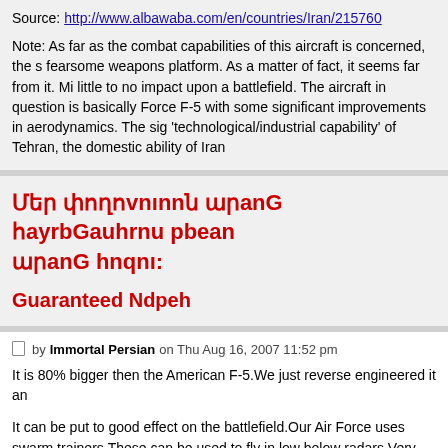Source: http://www.albawaba.com/en/countries/Iran/215760
Note: As far as the combat capabilities of this aircraft is concerned, the s fearsome weapons platform. As a matter of fact, it seems far from it. Mil little to no impact upon a battlefield. The aircraft in question is basically a Force F-5 with some significant improvements in aerodynamics. The sig 'technological/industrial capability' of Tehran, the domestic ability of Iran
Մեր փողոцுողն արanց հայrtenbauhrnu pbeann ananc hnqnu:
Guaranteed Ndpeh
by Immortal Persian on Thu Aug 16, 2007 11:52 pm
It is 80% bigger then the American F-5.We just reverse engineered it an
It can be put to good effect on the battlefield.Our Air Force uses swarm trainers.These can be used to fly in low below radars.Very easy mainten re-arm and re-fuel in 10 minutes take off again and continue air attacks.
by Armenian on Sat Aug 18, 2007 3:00 am